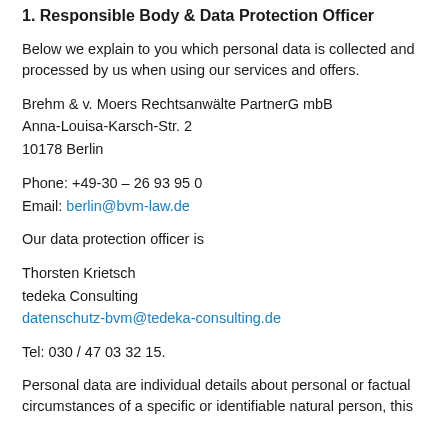1. Responsible Body & Data Protection Officer
Below we explain to you which personal data is collected and processed by us when using our services and offers.
Brehm & v. Moers Rechtsanwälte PartnerG mbB
Anna-Louisa-Karsch-Str. 2
10178 Berlin
Phone: +49-30 – 26 93 95 0
Email: berlin@bvm-law.de
Our data protection officer is
Thorsten Krietsch
tedeka Consulting
datenschutz-bvm@tedeka-consulting.de
Tel: 030 / 47 03 32 15.
Personal data are individual details about personal or factual circumstances of a specific or identifiable natural person, this